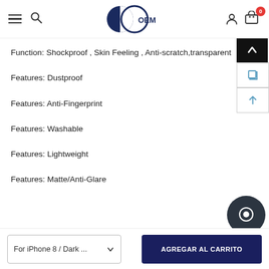GC OEM - header with navigation, search, user and cart icons
Function: Shockproof , Skin Feeling , Anti-scratch,transparent
Features: Dustproof
Features: Anti-Fingerprint
Features: Washable
Features: Lightweight
Features: Matte/Anti-Glare
For iPhone 8 / Dark ...  |  AGREGAR AL CARRITO